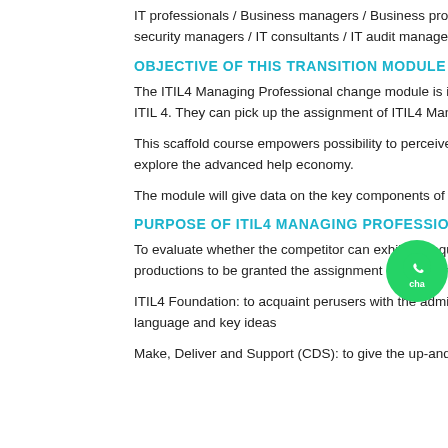IT professionals / Business managers / Business process owners / Ma security managers / IT consultants / IT audit managers / ITSM trainers.
OBJECTIVE OF THIS TRANSITION MODULE
The ITIL4 Managing Professional change module is intended to permi ITIL 4. They can pick up the assignment of ITIL4 Managing Professional
This scaffold course empowers possibility to perceive their pas explore the advanced help economy.
The module will give data on the key components of the accompanyin
PURPOSE OF ITIL4 MANAGING PROFESSIONAL TRANSIT
To evaluate whether the competitor can exhibit adequate underst productions to be granted the assignment ITIL 4 Managing Profession
ITIL4 Foundation: to acquaint perusers with the administration of cu language and key ideas
Make, Deliver and Support (CDS): to give the up-and-comer a compre